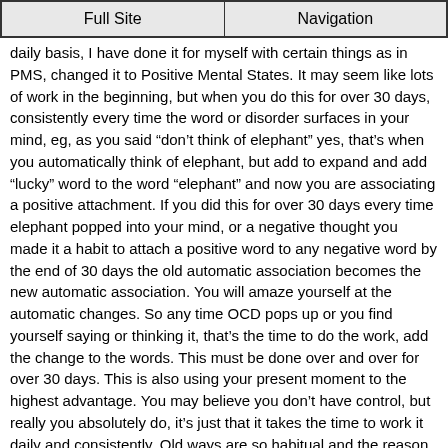Full Site | Navigation
daily basis, I have done it for myself with certain things as in PMS, changed it to Positive Mental States. It may seem like lots of work in the beginning, but when you do this for over 30 days, consistently every time the word or disorder surfaces in your mind, eg, as you said “don’t think of elephant” yes, that’s when you automatically think of elephant, but add to expand and add “lucky” word to the word “elephant” and now you are associating a positive attachment. If you did this for over 30 days every time elephant popped into your mind, or a negative thought you made it a habit to attach a positive word to any negative word by the end of 30 days the old automatic association becomes the new automatic association. You will amaze yourself at the automatic changes. So any time OCD pops up or you find yourself saying or thinking it, that’s the time to do the work, add the change to the words. This must be done over and over for over 30 days. This is also using your present moment to the highest advantage. You may believe you don’t have control, but really you absolutely do, it’s just that it takes the time to work it daily and consistently. Old ways are so habitual and the reason it takes this new work consistently.
Secondly, Lately I’ve been mainly focusing my energy on seeing other peoples life, energy and memories and have been channeling most of my energy onto that to develop a better understanding of it. Something I’ve realised is that when I’m feeling a strong emotion, usually sadness, anger, or pain, I tend to find it easier to ‘read’ people. I remember once I was feeling really depressed about my friend leaving to go to Korea because of family problems and that I wouldn’t get to see her again and that when I